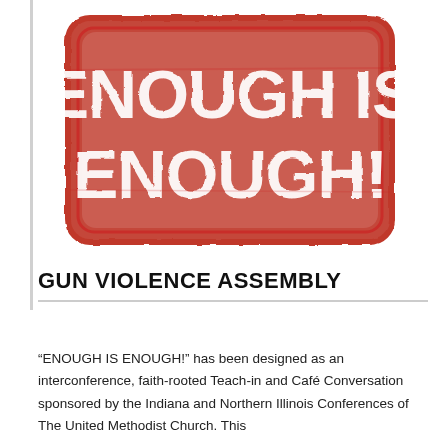[Figure (illustration): Red distressed rubber stamp graphic reading 'ENOUGH IS ENOUGH!' in bold white text on red background with rounded rectangle border]
GUN VIOLENCE ASSEMBLY
“ENOUGH IS ENOUGH!” has been designed as an interconference, faith-rooted Teach-in and Café Conversation sponsored by the Indiana and Northern Illinois Conferences of The United Methodist Church. This